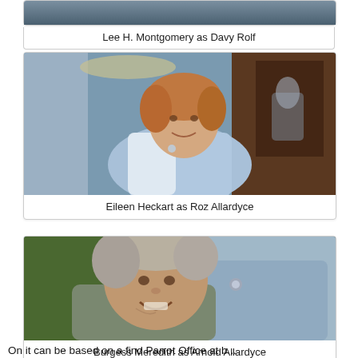[Figure (photo): Film still showing a person, partial view at top of page]
Lee H. Montgomery as Davy Rolf
[Figure (photo): Film still of an older woman with reddish-blonde hair wearing a light blue outfit, smiling in an ornate room]
Eileen Heckart as Roz Allardyce
[Figure (photo): Film still of an older man with disheveled hair smiling, a woman in blue visible behind him]
Burgess Meredith as Arnold Allardyce
On it can be based on a find Parrot Office at b...